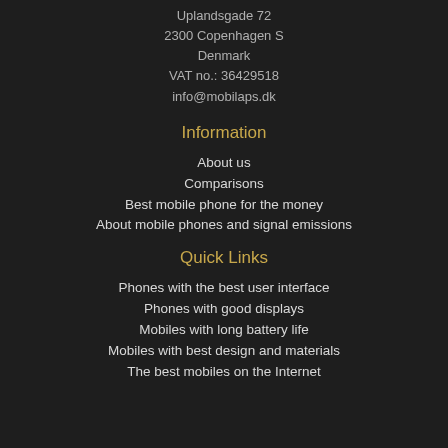Uplandsgade 72
2300 Copenhagen S
Denmark
VAT no.: 36429518
info@mobilaps.dk
Information
About us
Comparisons
Best mobile phone for the money
About mobile phones and signal emissions
Quick Links
Phones with the best user interface
Phones with good displays
Mobiles with long battery life
Mobiles with best design and materials
The best mobiles on the Internet